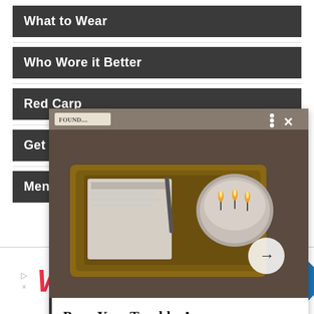What to Wear
Who Wore it Better
Red Carp
Get the L
Men's Fashion
[Figure (photo): Advertisement popup overlay showing candles on a wooden tray with text: Burn Your TroublesAway WithTheseIntoxicating Candles- 21Ninety]
Burn Your TroublesAway WithTheseIntoxicating Candles- 21Ninety
[Figure (other): Walgreens advertisement banner: Shop Walgreens Brand Wellness, Walgreens Photo]